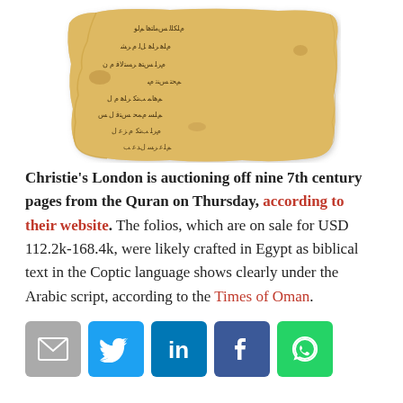[Figure (photo): A fragment of an ancient manuscript with Arabic script on aged yellowed parchment, torn edges visible.]
Christie's London is auctioning off nine 7th century pages from the Quran on Thursday, according to their website. The folios, which are on sale for USD 112.2k-168.4k, were likely crafted in Egypt as biblical text in the Coptic language shows clearly under the Arabic script, according to the Times of Oman.
[Figure (infographic): Social sharing buttons: email (grey), Twitter (blue bird), LinkedIn (blue 'in'), Facebook (dark blue 'f'), WhatsApp (green phone icon).]